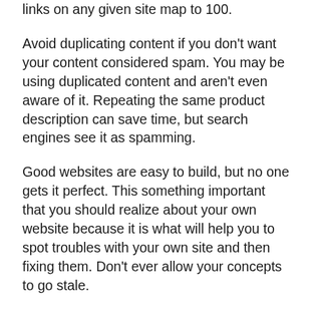You should generally limit the number of links on any given site map to 100.
Avoid duplicating content if you don't want your content considered spam. You may be using duplicated content and aren't even aware of it. Repeating the same product description can save time, but search engines see it as spamming.
Good websites are easy to build, but no one gets it perfect. This something important that you should realize about your own website because it is what will help you to spot troubles with your own site and then fixing them. Don't ever allow your concepts to go stale.
Make sure of the abilities of each member of